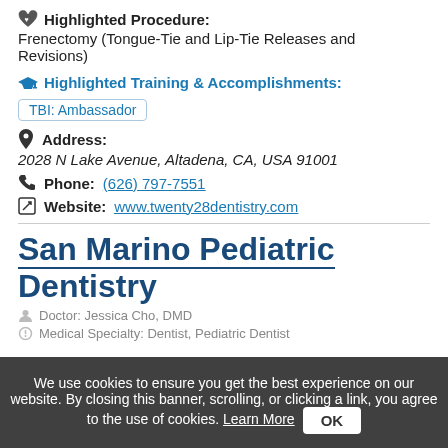Highlighted Procedure: Frenectomy (Tongue-Tie and Lip-Tie Releases and Revisions)
Highlighted Training & Accomplishments:
TBI: Ambassador
Address: 2028 N Lake Avenue, Altadena, CA, USA 91001
Phone: (626) 797-7551
Website: www.twenty28dentistry.com
San Marino Pediatric Dentistry
Doctor: Jessica Cho, DMD
Medical Specialty: Dentist, Pediatric Dentist
We use cookies to ensure you get the best experience on our website. By closing this banner, scrolling, or clicking a link, you agree to the use of cookies. Learn More OK